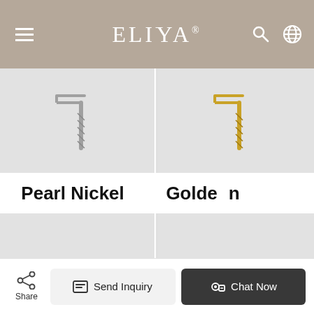ELIYA
[Figure (photo): Pearl Nickel hanger hook detail - silver colored metal hook with screw fitting on light gray background]
[Figure (photo): Golden hanger hook detail - gold colored metal hook with screw fitting on light gray background (partially cropped)]
Pearl Nickel
Golden
[Figure (photo): Pearl Nickel hanger bar with two rectangular silver clips on light gray background]
[Figure (photo): Golden hanger bar with gold rectangular clip on light gray background (partially cropped)]
Share
Send Inquiry
Chat Now